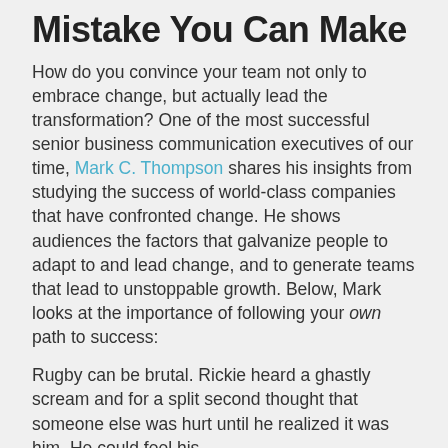Mistake You Can Make
How do you convince your team not only to embrace change, but actually lead the transformation? One of the most successful senior business communication executives of our time, Mark C. Thompson shares his insights from studying the success of world-class companies that have confronted change. He shows audiences the factors that galvanize people to adapt to and lead change, and to generate teams that lead to unstoppable growth. Below, Mark looks at the importance of following your own path to success:
Rugby can be brutal. Rickie heard a ghastly scream and for a split second thought that someone else was hurt until he realized it was him. He could feel his